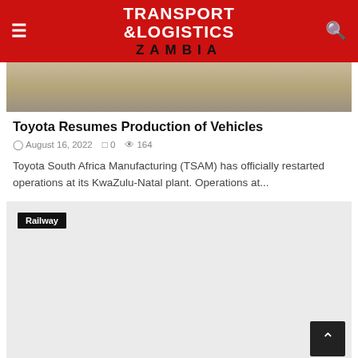TRANSPORT & LOGISTICS ZAMBIA
[Figure (photo): Partial view of a vehicle or road surface image, brownish/tan colored]
Toyota Resumes Production of Vehicles
August 16, 2022  0  164
Toyota South Africa Manufacturing (TSAM) has officially restarted operations at its KwaZulu-Natal plant. Operations at...
[Figure (photo): Railway category card with 'Railway' tag label, light grey background placeholder image]